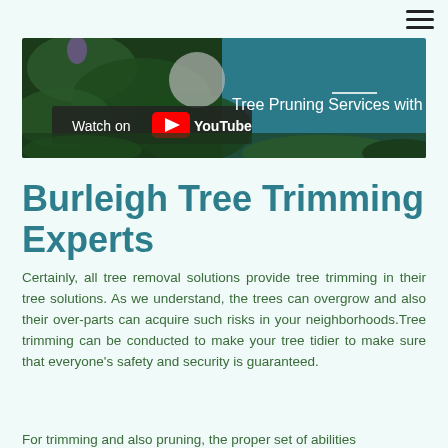[Figure (screenshot): YouTube video thumbnail showing tree pruning services with teal background and 'Watch on YouTube' button overlay. Text reads 'Tree Pruning Services with' visible on right side.]
Burleigh Tree Trimming Experts
Certainly, all tree removal solutions provide tree trimming in their tree solutions. As we understand, the trees can overgrow and also their over-parts can acquire such risks in your neighborhoods.Tree trimming can be conducted to make your tree tidier to make sure that everyone's safety and security is guaranteed.
For trimming and also pruning, the proper set of abilities